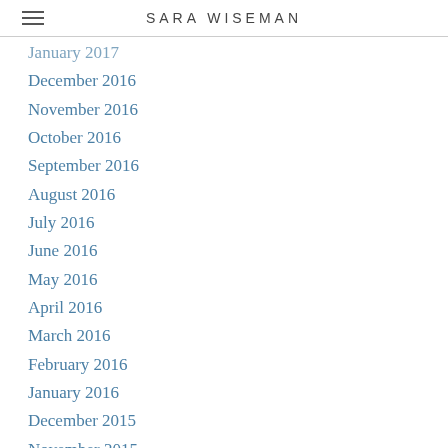SARA WISEMAN
January 2017
December 2016
November 2016
October 2016
September 2016
August 2016
July 2016
June 2016
May 2016
April 2016
March 2016
February 2016
January 2016
December 2015
November 2015
October 2015
August 2015
July 2015